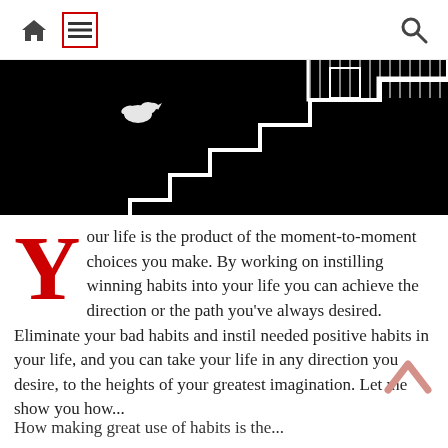Home | Menu | Search
[Figure (illustration): Black background image with white chalk-drawn staircase steps going upward from left to right, with a small white bird/dove figure on the left side]
Your life is the product of the moment-to-moment choices you make. By working on instilling winning habits into your life you can achieve the direction or the path you've always desired. Eliminate your bad habits and instil needed positive habits in your life, and you can take your life in any direction you desire, to the heights of your greatest imagination. Let me show you how...
How making great use of habits is the...